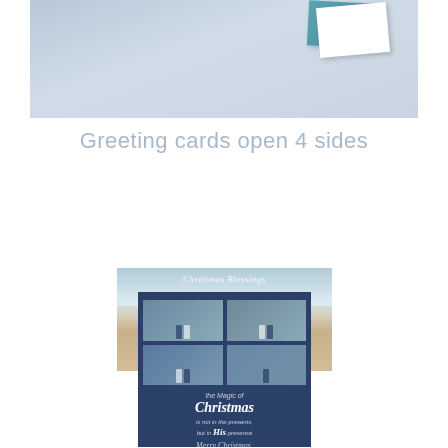[Figure (photo): Top portion of a light blue/gray background with greeting cards partially visible - white card and teal card overlapping]
Greeting cards open 4 sides
[Figure (photo): Christmas greeting card showing a family of adults and children sitting on a beach with turquoise water. Text reads 'Christmas Blessings' in white script at the top.]
[Figure (photo): Navy blue Christmas card with four family photo collages arranged in a 2x2 grid. Below the photos is text reading: 'the Magic of Christmas is not in the presents, but in His presence. Merry Christmas,']